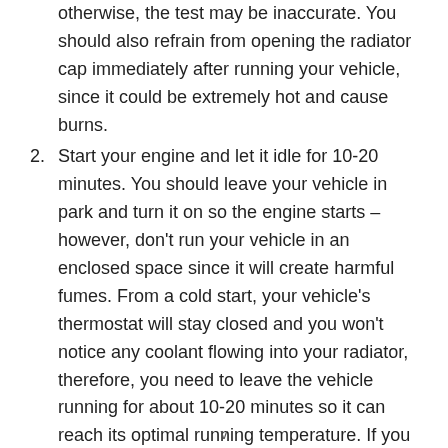otherwise, the test may be inaccurate. You should also refrain from opening the radiator cap immediately after running your vehicle, since it could be extremely hot and cause burns.
Start your engine and let it idle for 10-20 minutes. You should leave your vehicle in park and turn it on so the engine starts – however, don't run your vehicle in an enclosed space since it will create harmful fumes. From a cold start, your vehicle's thermostat will stay closed and you won't notice any coolant flowing into your radiator, therefore, you need to leave the vehicle running for about 10-20 minutes so it can reach its optimal running temperature. If you notice coolant flowing into the radiator straight after starting the engine, it means the thermostat is stuck in the open position.
v